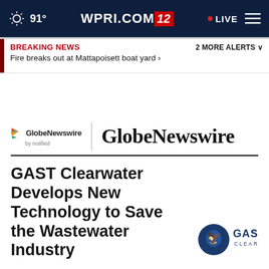91° WPRI.COM/2 LIVE
BREAKING NEWS   2 MORE ALERTS
Fire breaks out at Mattapoisett boat yard ›
[Figure (logo): GlobeNewswire by notified logo with colorful arrow icon, vertical divider, and large serif GlobeNewswire text]
GAST Clearwater Develops New Technology to Save the Wastewater Industry
[Figure (logo): GAST Clearwater logo with eagle emblem and blue circular badge]